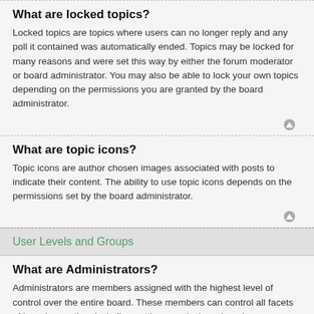What are locked topics?
Locked topics are topics where users can no longer reply and any poll it contained was automatically ended. Topics may be locked for many reasons and were set this way by either the forum moderator or board administrator. You may also be able to lock your own topics depending on the permissions you are granted by the board administrator.
What are topic icons?
Topic icons are author chosen images associated with posts to indicate their content. The ability to use topic icons depends on the permissions set by the board administrator.
User Levels and Groups
What are Administrators?
Administrators are members assigned with the highest level of control over the entire board. These members can control all facets of board operation, including setting permissions, banning users, creating usergroups or moderators, etc., dependent upon the board founder and what permissions he or she has given the other administrators. They may